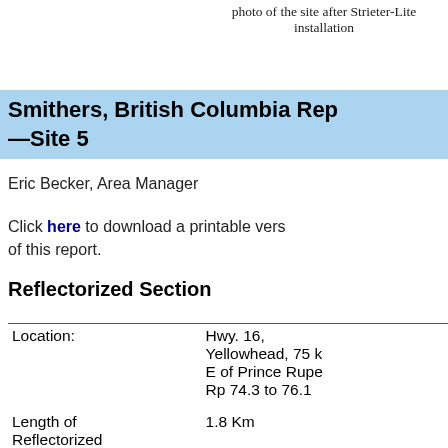photo of the site after Strieter-Lite installation
Smithers, British Columbia Rep—Site 5
Eric Becker, Area Manager
Click here to download a printable vers of this report.
Reflectorized Section
| Field | Value |
| --- | --- |
| Location: | Hwy. 16, Yellowhead, 75 E of Prince Rupe Rp 74.3 to 76.1 |
| Length of Reflectorized Section: | 1.8 Km |
| Reflectors Installed: | Aug 1995 |
| Reflector Installation Design: | Directed across highway and |